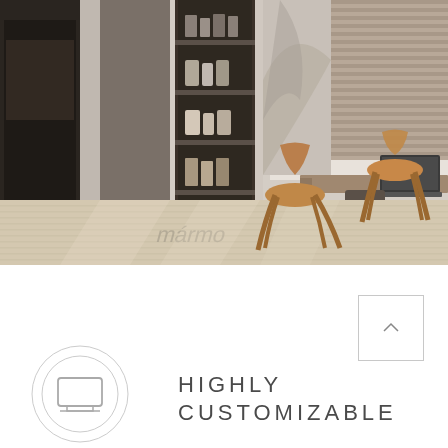[Figure (photo): Interior showroom photo showing wooden chairs around a desk, shelving with samples, wood floors, and 'mármo' text on the floor]
[Figure (illustration): Monitor/screen icon inside concentric circles]
HIGHLY CUSTOMIZABLE